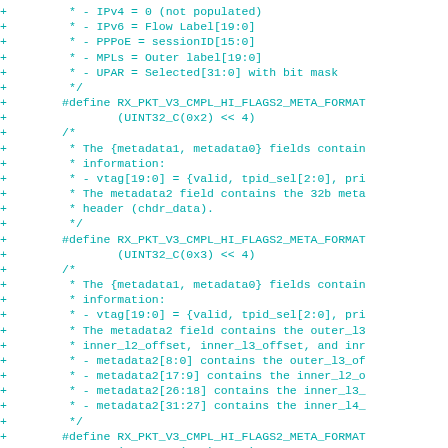Code diff showing C preprocessor definitions for RX_PKT_V3_CMPL_HI_FLAGS2_META_FORMAT with comments describing IPv4, IPv6, PPPoE, MPLs, UPAR metadata fields and their bit layouts.